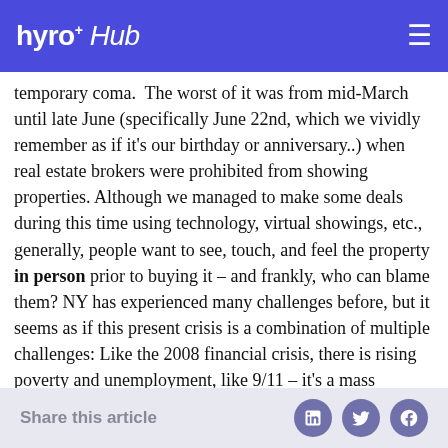hyro Hub
temporary coma. The worst of it was from mid-March until late June (specifically June 22nd, which we vividly remember as if it's our birthday or anniversary..) when real estate brokers were prohibited from showing properties. Although we managed to make some deals during this time using technology, virtual showings, etc., generally, people want to see, touch, and feel the property in person prior to buying it – and frankly, who can blame them? NY has experienced many challenges before, but it seems as if this present crisis is a combination of multiple challenges: Like the 2008 financial crisis, there is rising poverty and unemployment, like 9/11 – it's a mass casualty event bearing psychological trauma and shaking people's feeling of safety living in a congested urban environment. Like the 1970s, city governments face a fiscal crisis with a drastic reduction in tax revenues. Since June 22nd, we've actually seen a fairly solid uptick in our market
Share this article